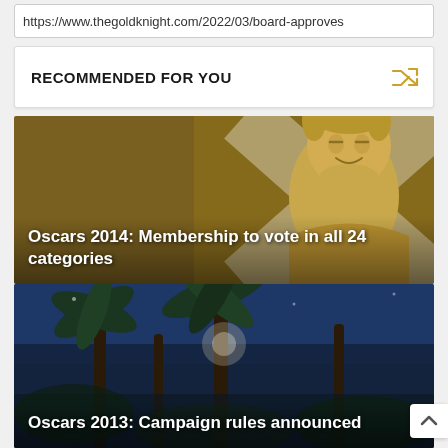https://www.thegoldknight.com/2022/03/board-approves
RECOMMENDED FOR YOU
[Figure (illustration): Animated Oscar statuette figure with golden skin and a large white X shape behind it, overlaid with text 'Oscars 2014: Membership to vote in all 24 categories']
Oscars 2014: Membership to vote in all 24 categories
[Figure (photo): Nighttime or evening photo of palm trees against a dark blue sky, overlaid with text 'Oscars 2013: Campaign rules announced']
Oscars 2013: Campaign rules announced